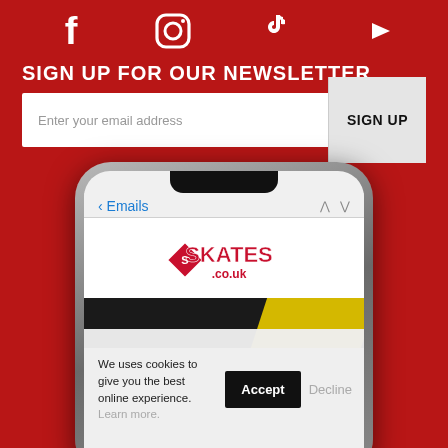[Figure (illustration): Social media icons row: Facebook, Instagram, TikTok, YouTube in white on red background]
SIGN UP FOR OUR NEWSLETTER
Enter your email address   SIGN UP
[Figure (screenshot): Smartphone showing Skates.co.uk email newsletter with a cookie consent banner overlay reading: We uses cookies to give you the best online experience. Learn more. With Accept and Decline buttons.]